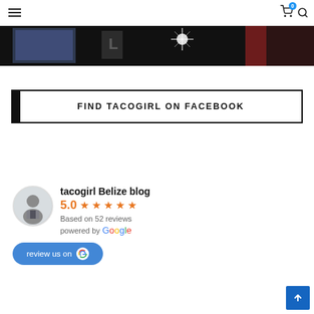Navigation header with hamburger menu, cart icon with badge 0, and search icon
[Figure (photo): Dark banner image strip at top of page]
FIND TACOGIRL ON FACEBOOK
[Figure (infographic): Google review widget showing tacogirl Belize blog with 5.0 rating based on 52 reviews, powered by Google, with a review us on Google button]